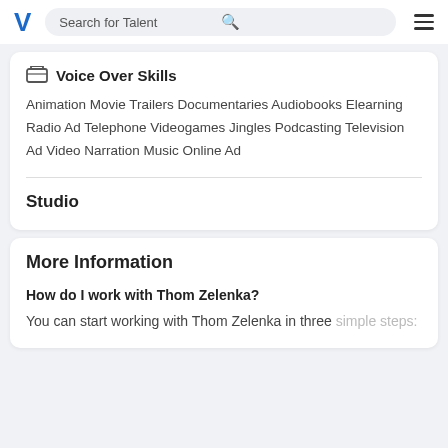Search for Talent
Voice Over Skills
Animation Movie Trailers Documentaries Audiobooks Elearning Radio Ad Telephone Videogames Jingles Podcasting Television Ad Video Narration Music Online Ad
Studio
More Information
How do I work with Thom Zelenka?
You can start working with Thom Zelenka in three simple steps: